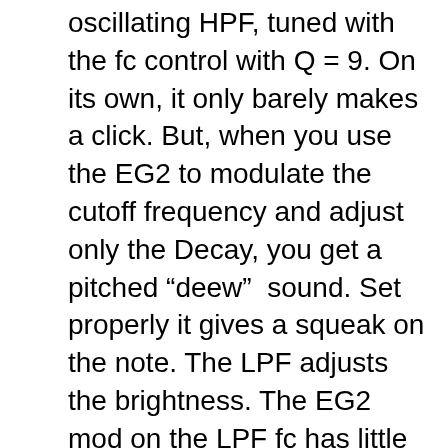oscillating HPF, tuned with the fc control with Q = 9. On its own, it only barely makes a click. But, when you use the EG2 to modulate the cutoff frequency and adjust only the Decay, you get a pitched “deew” sound. Set properly it gives a squeak on the note. The LPF adjusts the brightness. The EG2 mod on the LPF fc has little effect.